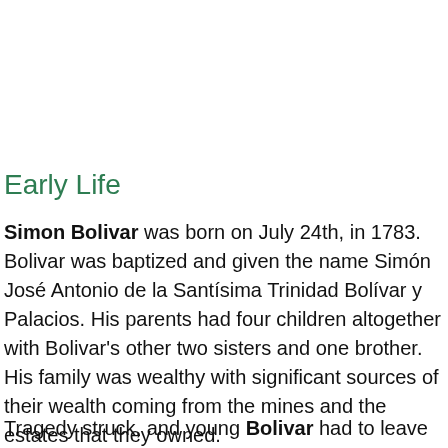Early Life
Simon Bolivar was born on July 24th, in 1783. Bolivar was baptized and given the name Simón José Antonio de la Santísima Trinidad Bolívar y Palacios. His parents had four children altogether with Bolivar's other two sisters and one brother. His family was wealthy with significant sources of their wealth coming from the mines and the estates that they owned.
Tragedy struck, and young Bolivar had to leave